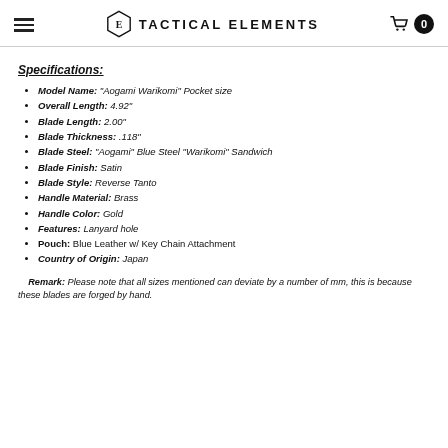TACTICAL ELEMENTS
Specifications:
Model Name: "Aogami Warikomi" Pocket size
Overall Length: 4.92"
Blade Length: 2.00"
Blade Thickness: .118"
Blade Steel: "Aogami" Blue Steel "Warikomi" Sandwich
Blade Finish: Satin
Blade Style: Reverse Tanto
Handle Material: Brass
Handle Color: Gold
Features: Lanyard hole
Pouch: Blue Leather w/ Key Chain Attachment
Country of Origin: Japan
Remark: Please note that all sizes mentioned can deviate by a number of mm, this is because these blades are forged by hand.